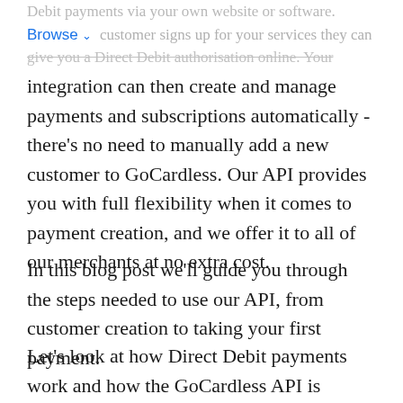Debit payments via your own website or software.
Browse  customer signs up for your services they can give you a Direct Debit authorisation online. Your integration can then create and manage payments and subscriptions automatically - there’s no need to manually add a new customer to GoCardless. Our API provides you with full flexibility when it comes to payment creation, and we offer it to all of our merchants at no extra cost.
In this blog post we’ll guide you through the steps needed to use our API, from customer creation to taking your first payment.
Let’s look at how Direct Debit payments work and how the GoCardless API is organised. In order to charge a customer’s bank account, you will first need